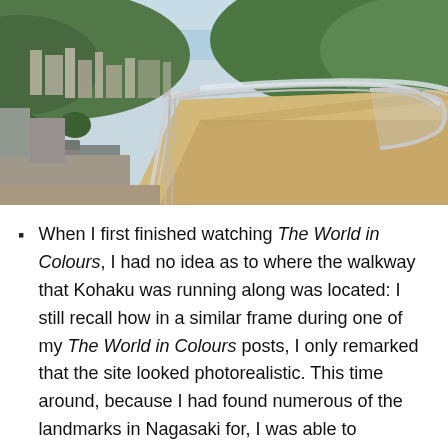[Figure (photo): Aerial view of a curved elevated walkway with metal railings in Nagasaki, Japan, with city buildings and green hills in the background. The walkway has a sandy/tan surface and curves to the right. This is the Glover Sky Road.]
When I first finished watching The World in Colours, I had no idea as to where the walkway that Kohaku was running along was located: I still recall how in a similar frame during one of my The World in Colours posts, I only remarked that the site looked photorealistic. This time around, because I had found numerous of the landmarks in Nagasaki for, I was able to determine that this walkway is a part of Glover Sky Road, which consists of a covered escalator similar to Central Mid-